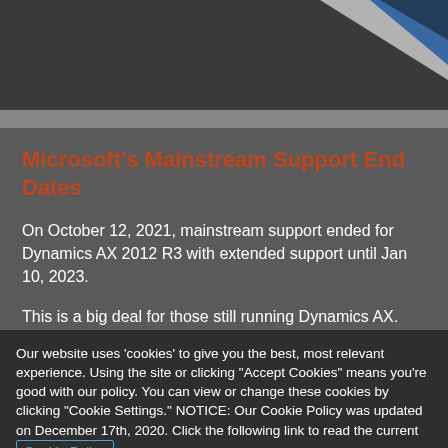[Figure (illustration): Dark header graphic with diagonal white and blue shapes on dark gray background]
Microsoft's Mainstream Support End Dates
On October 12, 2021, mainstream support ended for Dynamics AX 2012 R3 with extended support until Jan 10, 2023.
This is a big deal for those still running Dynamics AX. With only extended support offered by
Our website uses 'cookies' to give you the best, most relevant experience. Using the site or clicking "Accept Cookies" means you're good with our policy. You can view or change these cookies by clicking "Cookie Settings." NOTICE: Our Cookie Policy was updated on December 17th, 2020. Click the following link to read the current Cookie Policy